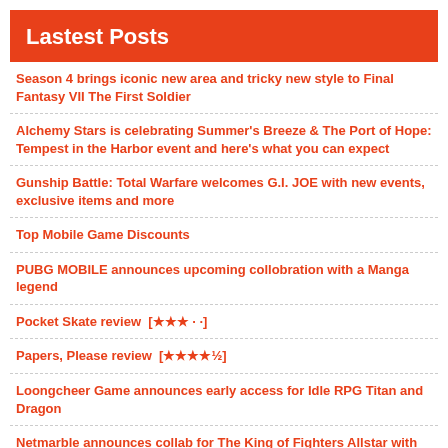Lastest Posts
Season 4 brings iconic new area and tricky new style to Final Fantasy VII The First Soldier
Alchemy Stars is celebrating Summer's Breeze & The Port of Hope: Tempest in the Harbor event and here's what you can expect
Gunship Battle: Total Warfare welcomes G.I. JOE with new events, exclusive items and more
Top Mobile Game Discounts
PUBG MOBILE announces upcoming collobration with a Manga legend
Pocket Skate review [★★★ · ·]
Papers, Please review [★★★★½]
Loongcheer Game announces early access for Idle RPG Titan and Dragon
Netmarble announces collab for The King of Fighters Allstar with fighting genre royalty
Everdell review [★★★ · ·]
NetEase Games reveals new features for Once Human
Zeste and Not Doppler reveal beautifully photorealistic design game